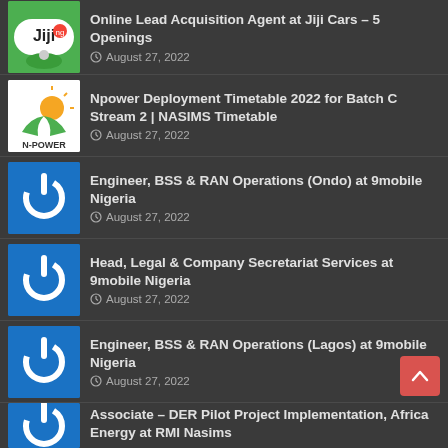Online Lead Acquisition Agent at Jiji Cars – 5 Openings
August 27, 2022
Npower Deployment Timetable 2022 for Batch C Stream 2 | NASIMS Timetable
August 27, 2022
Engineer, BSS & RAN Operations (Ondo) at 9mobile Nigeria
August 27, 2022
Head, Legal & Company Secretariat Services at 9mobile Nigeria
August 27, 2022
Engineer, BSS & RAN Operations (Lagos) at 9mobile Nigeria
August 27, 2022
Associate – DER Pilot Project Implementation, Africa Energy at RMI Nasims